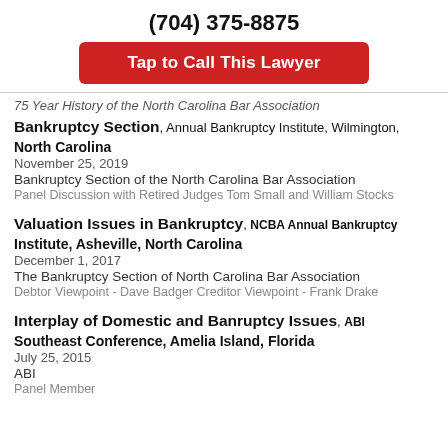(704) 375-8875
Tap to Call This Lawyer
75 Year History of the North Carolina Bar Association
Bankruptcy Section, Annual Bankruptcy Institute, Wilmington, North Carolina
November 25, 2019
Bankruptcy Section of the North Carolina Bar Association
Panel Discussion with Retired Judges Tom Small and William Stocks
Valuation Issues in Bankruptcy, NCBA Annual Bankruptcy Institute, Asheville, North Carolina
December 1, 2017
The Bankruptcy Section of North Carolina Bar Association
Debtor Viewpoint - Dave Badger Creditor Viewpoint - Frank Drake
Interplay of Domestic and Banruptcy Issues, ABI Southeast Conference, Amelia Island, Florida
July 25, 2015
ABI
Panel Member